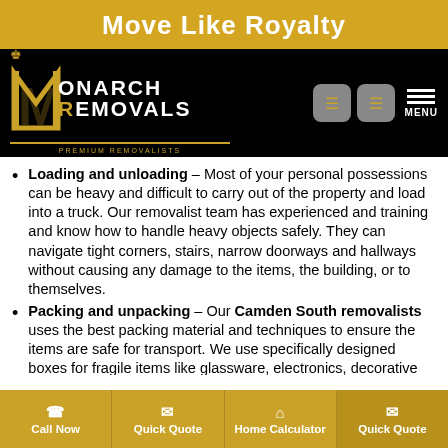Move Like Royalty
[Figure (logo): Monarch Removals logo — black background with gold crown, stylized M and R letterforms, text MONARCH REMOVALS PREMIUM REMOVALISTS in white and gold. Navigation icons and MENU button to the right.]
Loading and unloading – Most of your personal possessions can be heavy and difficult to carry out of the property and load into a truck. Our removalist team has experienced and training and know how to handle heavy objects safely. They can navigate tight corners, stairs, narrow doorways and hallways without causing any damage to the items, the building, or to themselves.
Packing and unpacking – Our Camden South removalists uses the best packing material and techniques to ensure the items are safe for transport. We use specifically designed boxes for fragile items like glassware, electronics, decorative items, etc. The crew also has access to the best tools and equipment to help speed
Call Now   Quick Quote   Home Calculator   Quick Quote